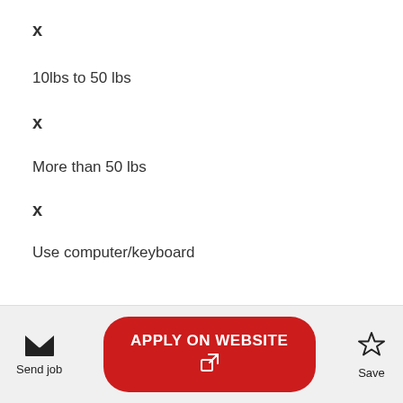X
10lbs to 50 lbs
X
More than 50 lbs
X
Use computer/keyboard
Send job | APPLY ON WEBSITE | Save